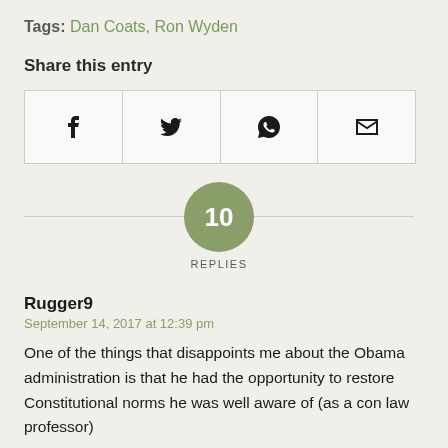Tags: Dan Coats, Ron Wyden
Share this entry
[Figure (other): Share buttons row with icons for Facebook, Twitter, WhatsApp, and Email]
10 REPLIES
Rugger9
September 14, 2017 at 12:39 pm
One of the things that disappoints me about the Obama administration is that he had the opportunity to restore Constitutional norms he was well aware of (as a con law professor)